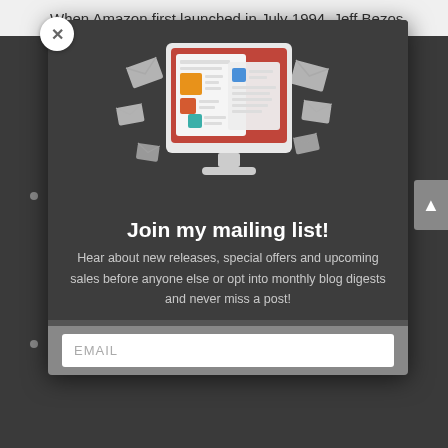When Amazon first launched in July 1994, Jeff Bezos
[Figure (illustration): Newsletter/email marketing illustration showing a computer monitor with a red background displaying newspaper/document pages with colored squares (orange, red-orange, teal, blue), surrounded by flying envelope icons in gray tones]
Join my mailing list!
Hear about new releases, special offers and upcoming sales before anyone else or opt into monthly blog digests and never miss a post!
EMAIL